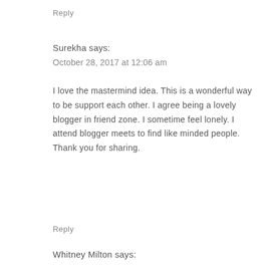Reply
Surekha says:
October 28, 2017 at 12:06 am
I love the mastermind idea. This is a wonderful way to be support each other. I agree being a lovely blogger in friend zone. I sometime feel lonely. I attend blogger meets to find like minded people. Thank you for sharing.
Reply
Whitney Milton says: